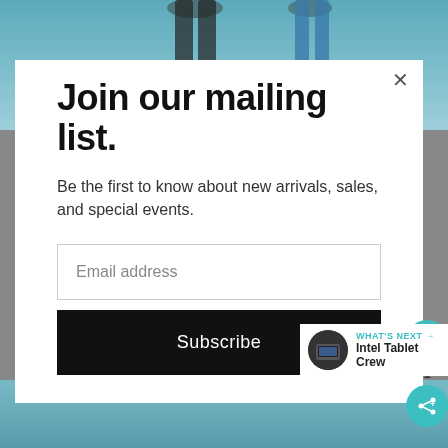[Figure (photo): Background photo showing people's legs/feet standing on a blue surface, visible at top and bottom of page behind a modal dialog]
Join our mailing list.
Be the first to know about new arrivals, sales, and special events.
Email address
Subscribe
WHAT'S NEXT → Intel Tablet Crew